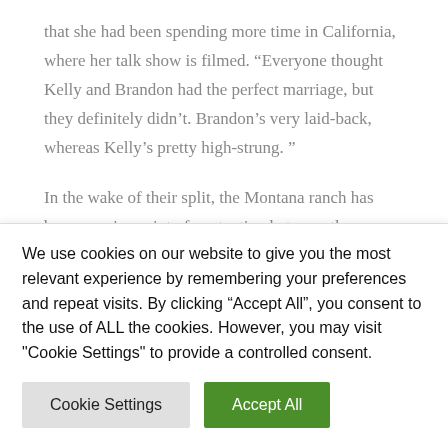that she had been spending more time in California, where her talk show is filmed. “Everyone thought Kelly and Brandon had the perfect marriage, but they definitely didn’t. Brandon’s very laid-back, whereas Kelly’s pretty high-strung. ”
In the wake of their split, the Montana ranch has been a major point of contention between the twosome. Court documents obtained by Us in August 2021 revealed that Clarkson wanted to sell the property but was denied as Blackstock was living there at the time. She was later granted ownership of most of their assets,
We use cookies on our website to give you the most relevant experience by remembering your preferences and repeat visits. By clicking “Accept All”, you consent to the use of ALL the cookies. However, you may visit "Cookie Settings" to provide a controlled consent.